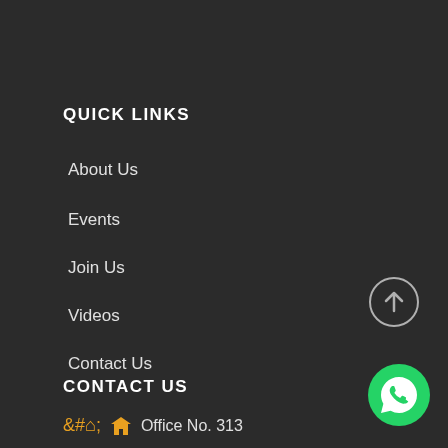QUICK LINKS
About Us
Events
Join Us
Videos
Contact Us
CONTACT US
Office No. 313
[Figure (illustration): Circular scroll-to-top button with upward arrow icon, grey outline on dark background]
[Figure (illustration): Green circular WhatsApp button with white phone/chat icon]